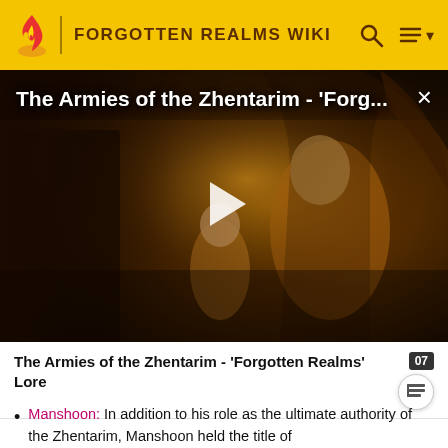FORGOTTEN REALMS WIKI
[Figure (screenshot): Video thumbnail showing fantasy art with robed figures and a dragon-like creature on a throne. Title overlay reads: The Armies of the Zhentarim - 'Forg...' with a play button in the center.]
The Armies of the Zhentarim - 'Forgotten Realms' Lore
Manshoon: In addition to his role as the ultimate authority of the Zhentarim, Manshoon held the title of